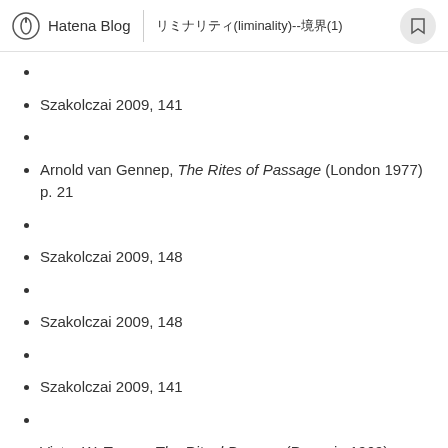Hatena Blog | リミナリティ(liminality)--境界(1)
Szakolczai 2009, 141
Arnold van Gennep, The Rites of Passage (London 1977) p. 21
Szakolczai 2009, 148
Szakolczai 2009, 148
Szakolczai 2009, 141
Victor W. Turner, The Ritual Process (Penguin 1969) p. 155